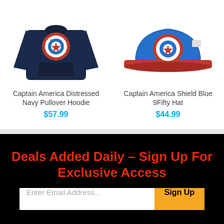[Figure (photo): Captain America Distressed Navy Pullover Hoodie product photo — dark navy blue sweatshirt with Captain America shield logo]
Captain America Distressed Navy Pullover Hoodie
$57.99
[Figure (photo): Captain America Shield Blue 9Fifty Hat product photo — royal blue snapback cap with red brim and Captain America shield logo]
Captain America Shield Blue 9Fifty Hat
$44.99
Deals Added Daily – Sign Up For Exclusive Access
Enter Email Address...
Sign Up